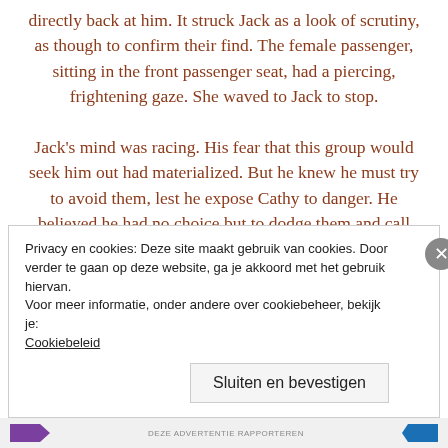directly back at him. It struck Jack as a look of scrutiny, as though to confirm their find. The female passenger, sitting in the front passenger seat, had a piercing, frightening gaze. She waved to Jack to stop.

Jack's mind was racing. His fear that this group would seek him out had materialized. But he knew he must try to avoid them, lest he expose Cathy to danger. He believed he had no choice but to dodge them and call her. He also knew he should not use his cell phone.
Privacy en cookies: Deze site maakt gebruik van cookies. Door verder te gaan op deze website, ga je akkoord met het gebruik hiervan. Voor meer informatie, onder andere over cookiebeheer, bekijk je: Cookiebeleid
Sluiten en bevestigen